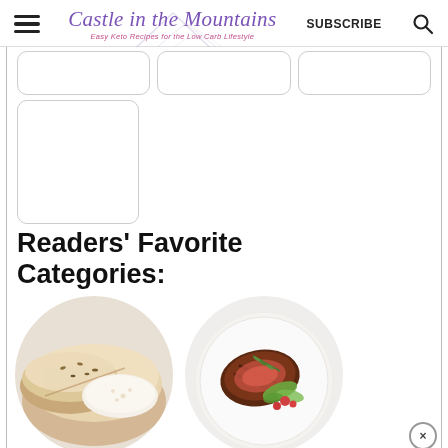Castle in the Mountains — Easy Keto Recipes for the Low Carb Lifestyle | SUBSCRIBE
[Figure (screenshot): Placeholder card thumbnails in a grid row (3 small cards top, 1 tall card below)]
Readers' Favorite Categories:
[Figure (photo): Circular cropped photo of sliced seeded bread loaf]
[Figure (photo): Circular cropped photo of grilled steak with greens and tomatoes on a white plate]